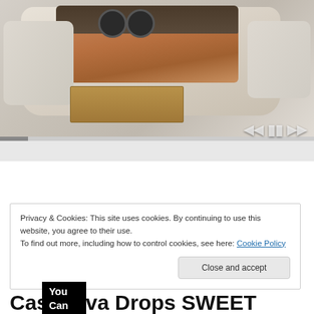[Figure (screenshot): A video player screenshot showing a luxury smart bed with multiple features including speakers, drawers, massage chair, and storage compartments. The bed is cream/beige colored with wood accents.]
You Can Afford These Smart Beds! See Them Now
Privacy & Cookies: This site uses cookies. By continuing to use this website, you agree to their use.
To find out more, including how to control cookies, see here: Cookie Policy
Close and accept
Casanova Drops  SWEET